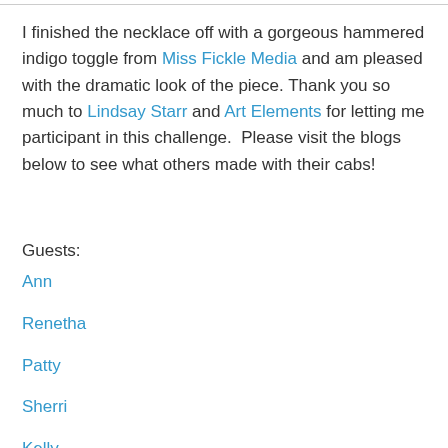I finished the necklace off with a gorgeous hammered indigo toggle from Miss Fickle Media and am pleased with the dramatic look of the piece. Thank you so much to Lindsay Starr and Art Elements for letting me participant in this challenge.  Please visit the blogs below to see what others made with their cabs!
Guests:
Ann
Renetha
Patty
Sherri
Kelly